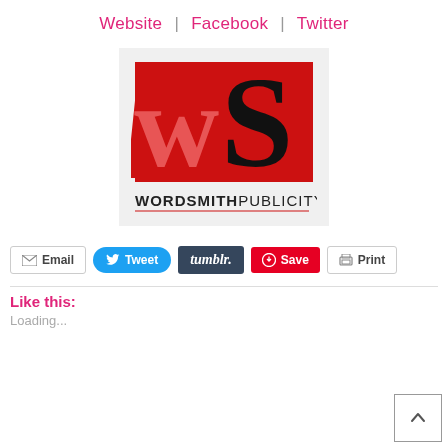Website  |  Facebook  |  Twitter
[Figure (logo): Wordsmith Publicity logo: red background with stylized 'WS' letters in red and black, text 'WORDSMITHPUBLICITY' below with red underline]
Email  Tweet  tumblr.  Save  Print
Like this:
Loading...